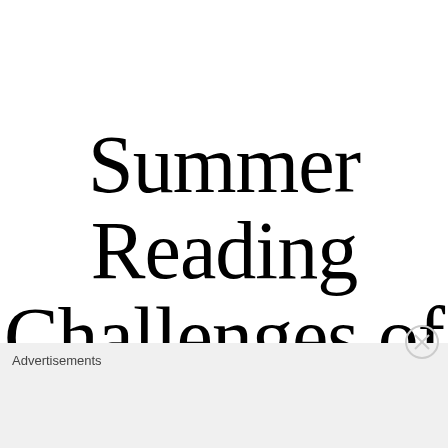Summer Reading Challenges of
Advertisements